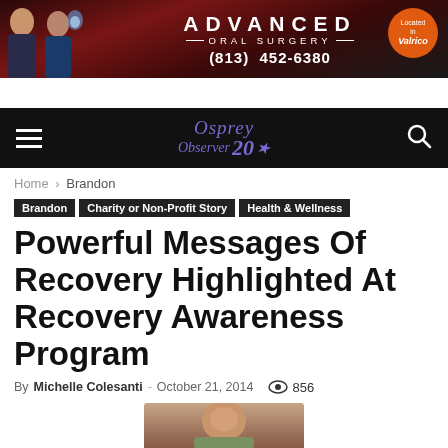[Figure (photo): Advanced Oral Surgery advertisement banner with phone number (813) 452-6380, Located in Valrico badge]
Osprey Observer 20
Home › Brandon
Brandon
Charity or Non-Profit Story
Health & Wellness
Powerful Messages Of Recovery Highlighted At Recovery Awareness Program
By Michelle Colesanti - October 21, 2014  856
[Figure (photo): Partial photo of a person at the bottom of the page]